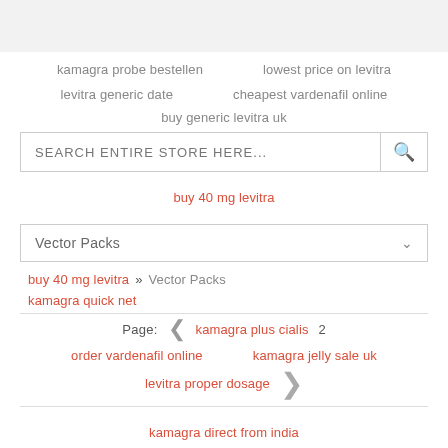kamagra probe bestellen   lowest price on levitra
levitra generic date   cheapest vardenafil online
buy generic levitra uk
SEARCH ENTIRE STORE HERE...
buy 40 mg levitra
Vector Packs
buy 40 mg levitra » Vector Packs
kamagra quick net
Page:  kamagra plus cialis  2
order vardenafil online   kamagra jelly sale uk
levitra proper dosage
kamagra direct from india